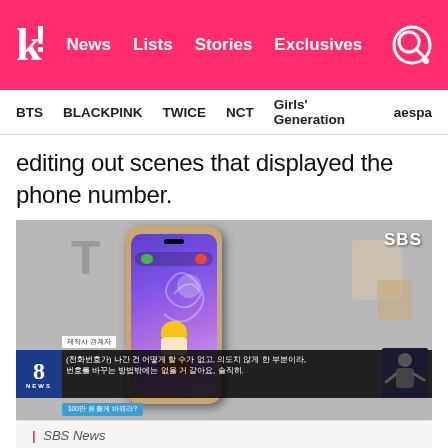k! News Lists Stories Exclusives
BTS   BLACKPINK   TWICE   NCT   Girls' Generation   aespa
editing out scenes that displayed the phone number.
[Figure (screenshot): Screenshot of SBS news broadcast showing a smartphone with a purple screen featuring an animated character. Korean lower-third text reads: (전화번호가) 나간 건 어떻게 할 수가 없고, 의도치 않게 한 부분이라, 번호를 바꾸는 방법밖에는 없을 거 같아요, 솔직히. Label: 제작사 관계자. Bottom ticker: 100만 원 줄게 바꿔라?. SBS watermark top right.]
| SBS News